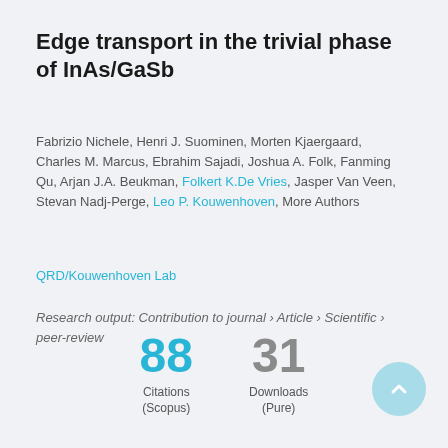Edge transport in the trivial phase of InAs/GaSb
Fabrizio Nichele, Henri J. Suominen, Morten Kjaergaard, Charles M. Marcus, Ebrahim Sajadi, Joshua A. Folk, Fanming Qu, Arjan J.A. Beukman, Folkert K.De Vries, Jasper Van Veen, Stevan Nadj-Perge, Leo P. Kouwenhoven, More Authors
QRD/Kouwenhoven Lab
Research output: Contribution to journal › Article › Scientific › peer-review
88 Citations (Scopus)
31 Downloads (Pure)